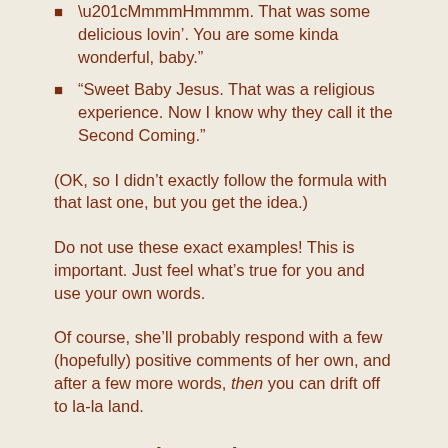“MmmmHmmmm. That was some delicious lovin’. You are some kinda wonderful, baby.”
“Sweet Baby Jesus. That was a religious experience. Now I know why they call it the Second Coming.”
(OK, so I didn’t exactly follow the formula with that last one, but you get the idea.)
Do not use these exact examples! This is important. Just feel what’s true for you and use your own words.
Of course, she’ll probably respond with a few (hopefully) positive comments of her own, and after a few more words, then you can drift off to la-la land.
#2: For Advanced Guys